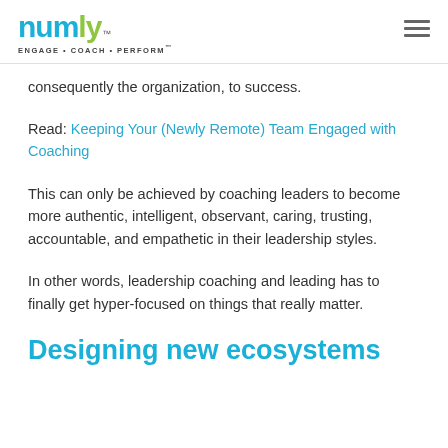numly™ ENGAGE · COACH · PERFORM™
consequently the organization, to success.
Read: Keeping Your (Newly Remote) Team Engaged with Coaching
This can only be achieved by coaching leaders to become more authentic, intelligent, observant, caring, trusting, accountable, and empathetic in their leadership styles.
In other words, leadership coaching and leading has to finally get hyper-focused on things that really matter.
Designing new ecosystems